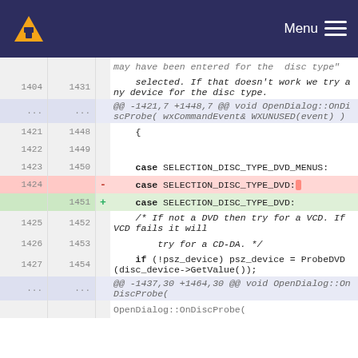VLC Menu
[Figure (screenshot): VLC media player header with orange cone logo on left and Menu hamburger icon on right, dark navy background]
may have been entered for the disc type"
1404 1431    selected. If that doesn't work we try any device for the disc type.
... ...   @@ -1421,7 +1448,7 @@ void OpenDialog::OnDiscProbe( wxCommandEvent& WXUNUSED(event) )
1421 1448    {
1422 1449
1423 1450    case SELECTION_DISC_TYPE_DVD_MENUS:
1424  -  case SELECTION_DISC_TYPE_DVD:
1451 +  case SELECTION_DISC_TYPE_DVD:
1425 1452    /* If not a DVD then try for a VCD. If VCD fails it will
1426 1453         try for a CD-DA. */
1427 1454    if (!psz_device) psz_device = ProbeDVD(disc_device->GetValue());
... ...   @@ -1437,30 +1464,30 @@ void OpenDialog::OnDiscProbe(